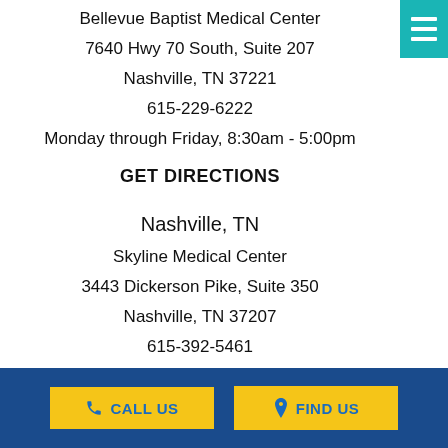Bellevue Baptist Medical Center
7640 Hwy 70 South, Suite 207
Nashville, TN 37221
615-229-6222
Monday through Friday, 8:30am - 5:00pm
GET DIRECTIONS
Nashville, TN
Skyline Medical Center
3443 Dickerson Pike, Suite 350
Nashville, TN 37207
615-392-5461
Monday through Thursday 8:30am - 5:00